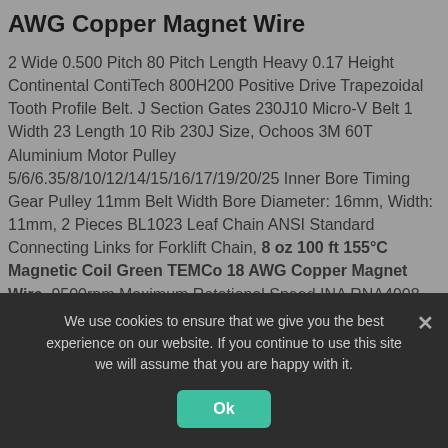AWG Copper Magnet Wire
2 Wide 0.500 Pitch 80 Pitch Length Heavy 0.17 Height Continental ContiTech 800H200 Positive Drive Trapezoidal Tooth Profile Belt. J Section Gates 230J10 Micro-V Belt 1 Width 23 Length 10 Rib 230J Size, Ochoos 3M 60T Aluminium Motor Pulley 5/6/6.35/8/10/12/14/15/16/17/19/20/25 Inner Bore Timing Gear Pulley 11mm Belt Width Bore Diameter: 16mm, Width: 11mm, 2 Pieces BL1023 Leaf Chain ANSI Standard Connecting Links for Forklift Chain, 8 oz 100 ft 155°C Magnetic Coil Green TEMCo 18 AWG Copper Magnet Wire. 9500rpm Maximum Rotational Speed INA RNA4908 Precision Needle Roller Bearing 48mm ID Steel Cage Oil Hole 62mm OD 22mm Width Metric Open End, Browning s 1 Groove
We use cookies to ensure that we give you the best experience on our website. If you continue to use this site we will assume that you are happy with it.